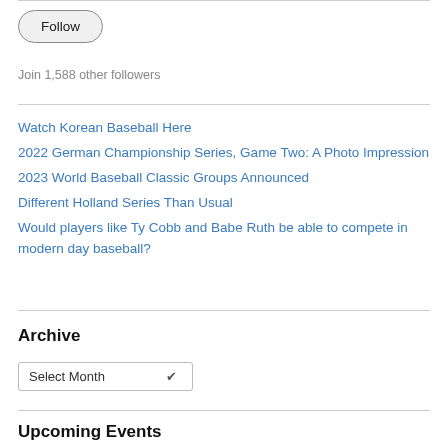[Figure (screenshot): Follow button - rounded rectangle button with text 'Follow']
Join 1,588 other followers
Watch Korean Baseball Here
2022 German Championship Series, Game Two: A Photo Impression
2023 World Baseball Classic Groups Announced
Different Holland Series Than Usual
Would players like Ty Cobb and Babe Ruth be able to compete in modern day baseball?
Archive
Select Month
Upcoming Events